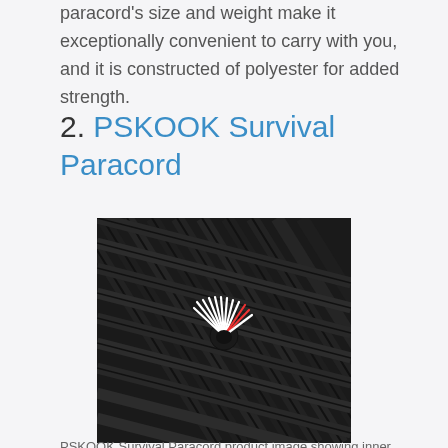paracord's size and weight make it exceptionally convenient to carry with you, and it is constructed of polyester for added strength.
2. PSKOOK Survival Paracord
[Figure (photo): Close-up photograph of black braided paracord strands arranged diagonally. One cord is cut open in the center, revealing multiple white and red inner strands fanning out.]
PSKOOK Survival Paracord product image showing inner strands